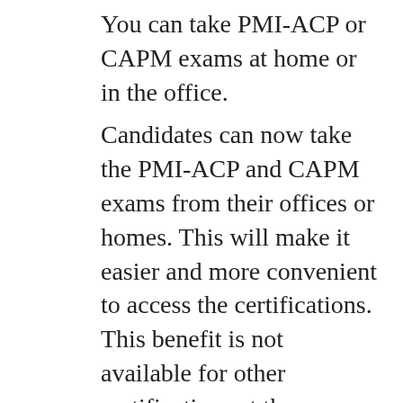You can take PMI-ACP or CAPM exams at home or in the office.
Candidates can now take the PMI-ACP and CAPM exams from their offices or homes. This will make it easier and more convenient to access the certifications. This benefit is not available for other certifications at the moment.
From paper-based testing to computer-based testing
The locations where Paper-based exams were held are now being moved to Computer-based exams at